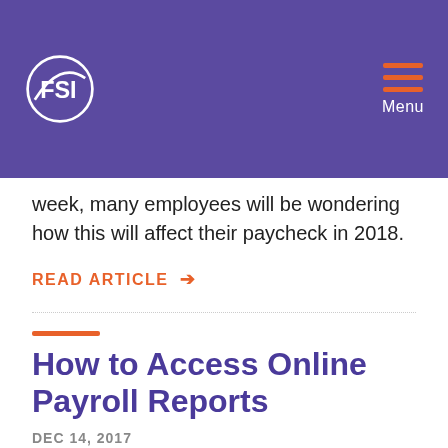FSI | Menu
week, many employees will be wondering how this will affect their paycheck in 2018.
READ ARTICLE →
How to Access Online Payroll Reports
DEC 14, 2017
At Future Systems, we believe that accessing helpful